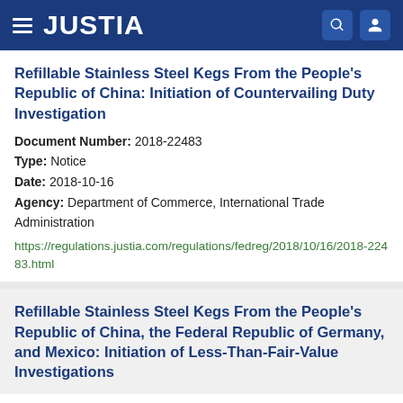JUSTIA
Refillable Stainless Steel Kegs From the People's Republic of China: Initiation of Countervailing Duty Investigation
Document Number: 2018-22483
Type: Notice
Date: 2018-10-16
Agency: Department of Commerce, International Trade Administration
https://regulations.justia.com/regulations/fedreg/2018/10/16/2018-22483.html
Refillable Stainless Steel Kegs From the People's Republic of China, the Federal Republic of Germany, and Mexico: Initiation of Less-Than-Fair-Value Investigations